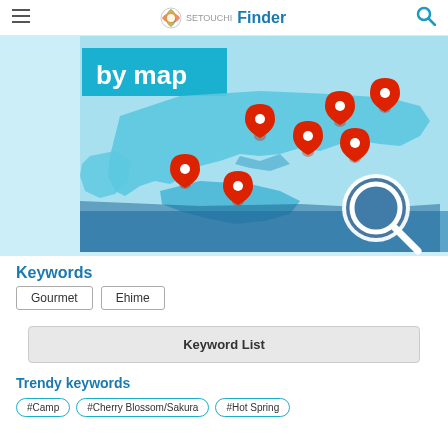Setouchi Finder — navigation bar with hamburger menu, logo, and search icon
[Figure (map): Setouchi region map with red location pins and magnifying glass icon, on blue background with 'by map' text overlay]
Keywords
Gourmet  Ehime
Keyword List
Trendy keywords
#Camp  #Cherry Blossom/Sakura  #Hot Spring